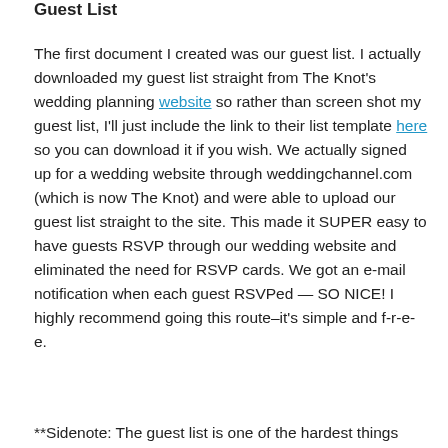Guest List
The first document I created was our guest list. I actually downloaded my guest list straight from The Knot's wedding planning website so rather than screen shot my guest list, I'll just include the link to their list template here so you can download it if you wish. We actually signed up for a wedding website through weddingchannel.com (which is now The Knot) and were able to upload our guest list straight to the site. This made it SUPER easy to have guests RSVP through our wedding website and eliminated the need for RSVP cards. We got an e-mail notification when each guest RSVPed — SO NICE! I highly recommend going this route–it's simple and f-r-e-e.
**Sidenote: The guest list is one of the hardest things